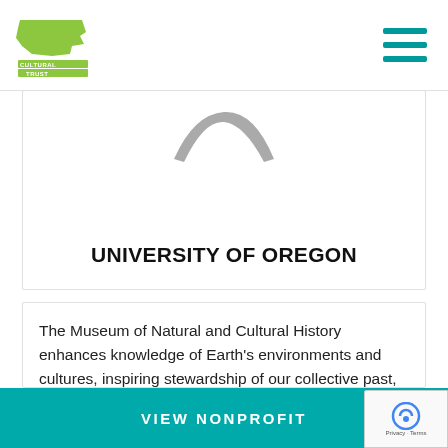Oregon Cultural Trust logo and navigation
[Figure (logo): Oregon Cultural Trust logo — green Oregon state shape with text 'CULTURAL TRUST' in green on white background]
[Figure (illustration): Hamburger menu icon — three horizontal teal/dark-teal lines]
[Figure (logo): University of Oregon Museum of Natural and Cultural History logo — partial grey stylized arc/chevron shape]
UNIVERSITY OF OREGON
The Museum of Natural and Cultural History enhances knowledge of Earth's environments and cultures, inspiring stewardship of our collective past, present, and future. Oregon's official repository for publicly-owned
VIEW NONPROFIT